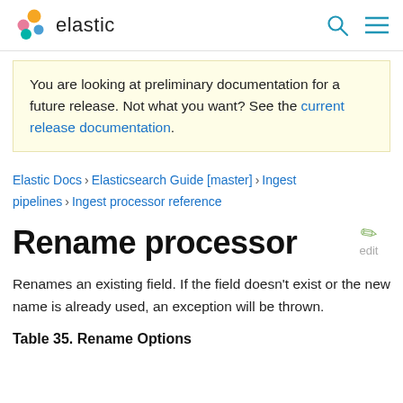elastic
You are looking at preliminary documentation for a future release. Not what you want? See the current release documentation.
Elastic Docs › Elasticsearch Guide [master] › Ingest pipelines › Ingest processor reference
Rename processor
Renames an existing field. If the field doesn't exist or the new name is already used, an exception will be thrown.
Table 35. Rename Options